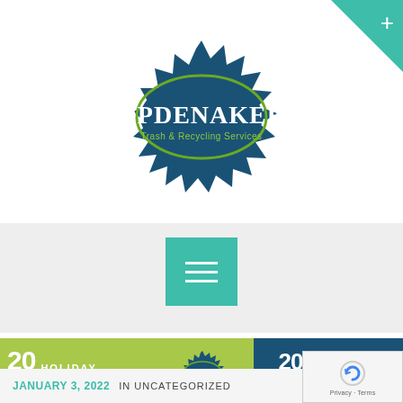[Figure (logo): Opdenaker Trash & Recycling Services logo — dark teal spiky starburst shape with white OPDENAKER text and green Trash & Recycling Services subtitle]
[Figure (other): Teal hamburger menu button with three white horizontal lines]
[Figure (other): 2022 Holiday Schedule banner in lime green with Opdenaker logo in center and repeated schedule text on right dark-blue panel]
JANUARY 3, 2022  IN UNCATEGORIZED